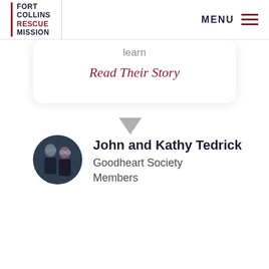[Figure (logo): Fort Collins Rescue Mission logo with stacked bold text and red accent line]
MENU
learn
Read Their Story
John and Kathy Tedrick
Goodheart Society Members
[Figure (photo): Circular profile photo of John and Kathy Tedrick, a couple wearing dark clothing]